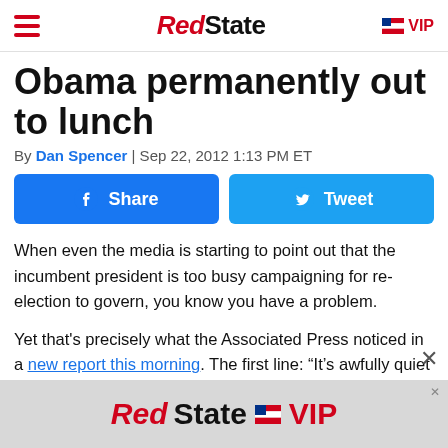RedState | VIP
Obama permanently out to lunch
By Dan Spencer | Sep 22, 2012 1:13 PM ET
[Figure (infographic): Facebook Share button and Twitter Tweet button]
When even the media is starting to point out that the incumbent president is too busy campaigning for re-election to govern, you know you have a problem.
Yet that's precisely what the Associated Press noticed in a new report this morning. The first line: “It’s awfully quiet at the White House these days.”
[Figure (logo): RedState VIP advertisement banner]